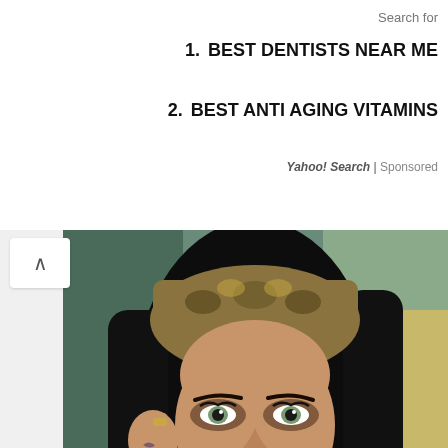Search for
1. BEST DENTISTS NEAR ME
2. BEST ANTI AGING VITAMINS
Yahoo! Search | Sponsored
[Figure (photo): Close-up portrait of a woman with dark hair wearing a patterned headscarf and dramatic eye makeup, looking at the camera.]
10 Asian Actresses Of Irresistible Beauty
BRAINBERRIES
[Figure (photo): Partial bottom image showing what appears to be food or a beverage with grains/seeds visible.]